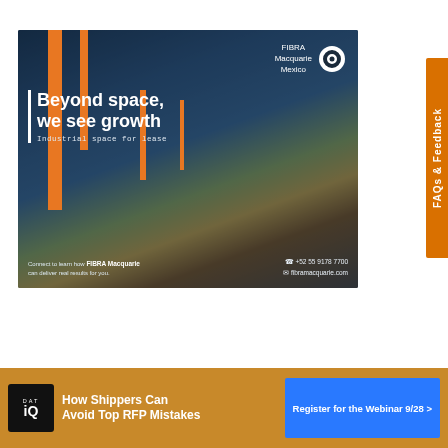[Figure (photo): FIBRA Macquarie Mexico advertisement showing industrial warehouse with orange pillars. Text: 'Beyond space, we see growth. Industrial space for lease. Connect to learn how FIBRA Macquarie can deliver real results for you. +52 55 9178 7700, fibramacquarie.com']
[Figure (infographic): DAT iQ advertisement banner: 'How Shippers Can Avoid Top RFP Mistakes' with Register for the Webinar 9/28 button]
FAQs & Feedback